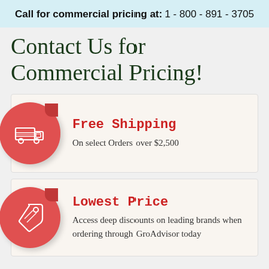Call for commercial pricing at: 1-800-891-3705
Contact Us for Commercial Pricing!
Free Shipping
On select Orders over $2,500
Lowest Price
Access deep discounts on leading brands when ordering through GroAdvisor today